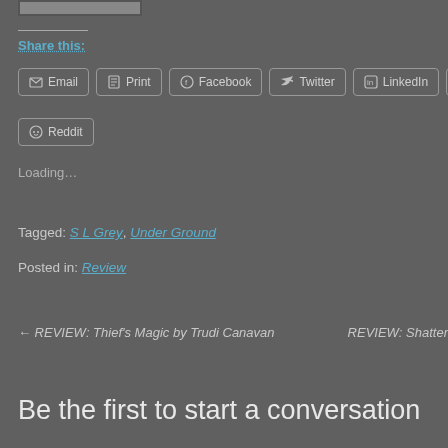[Figure (other): Small image thumbnail at top]
Share this:
Email
Print
Facebook
Twitter
LinkedIn
Pi...
Reddit
Loading...
Tagged: S L Grey, Under Ground
Posted in: Review
← REVIEW: Thief's Magic by Trudi Canavan
REVIEW: Shatter...
Be the first to start a conversation